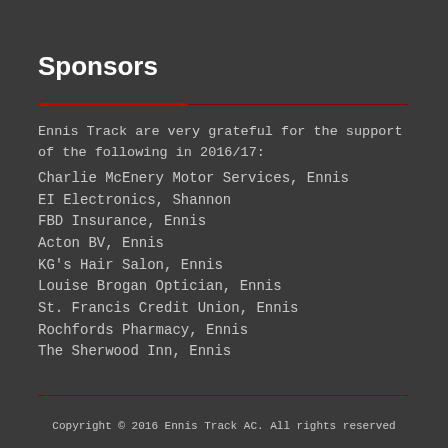Sponsors
Ennis Track are very grateful for the support of the following in 2016/17:
Charlie McEnery Motor Services, Ennis
EI Electronics, Shannon
FBD Insurance, Ennis
Acton BV, Ennis
KG's Hair Salon, Ennis
Louise Brogan Optician, Ennis
St. Francis Credit Union, Ennis
Rochfords Pharmacy, Ennis
The Sherwood Inn, Ennis
Copyright © 2016 Ennis Track AC. All rights reserved